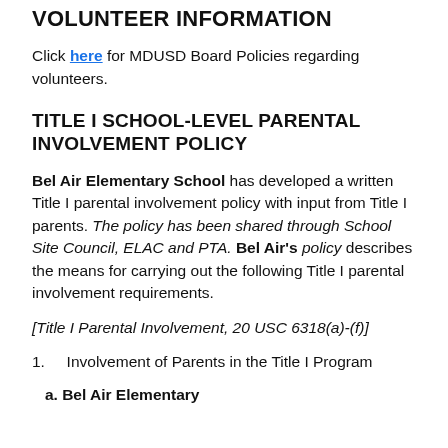VOLUNTEER INFORMATION
Click here for MDUSD Board Policies regarding volunteers.
TITLE I SCHOOL-LEVEL PARENTAL INVOLVEMENT POLICY
Bel Air Elementary School has developed a written Title I parental involvement policy with input from Title I parents. The policy has been shared through School Site Council, ELAC and PTA. Bel Air's policy describes the means for carrying out the following Title I parental involvement requirements.
[Title I Parental Involvement, 20 USC 6318(a)-(f)]
1.  Involvement of Parents in the Title I Program
a. Bel Air Elementary…